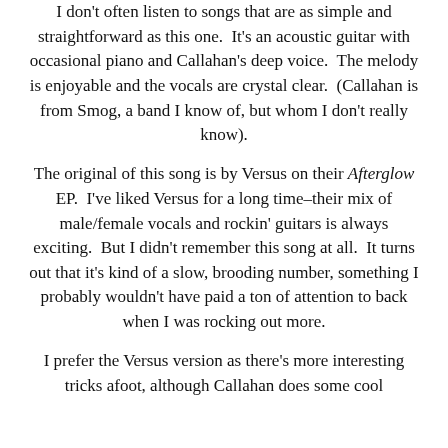I don't often listen to songs that are as simple and straightforward as this one. It's an acoustic guitar with occasional piano and Callahan's deep voice. The melody is enjoyable and the vocals are crystal clear. (Callahan is from Smog, a band I know of, but whom I don't really know).
The original of this song is by Versus on their Afterglow EP. I've liked Versus for a long time–their mix of male/female vocals and rockin' guitars is always exciting. But I didn't remember this song at all. It turns out that it's kind of a slow, brooding number, something I probably wouldn't have paid a ton of attention to back when I was rocking out more.
I prefer the Versus version as there's more interesting tricks afoot, although Callahan does some cool